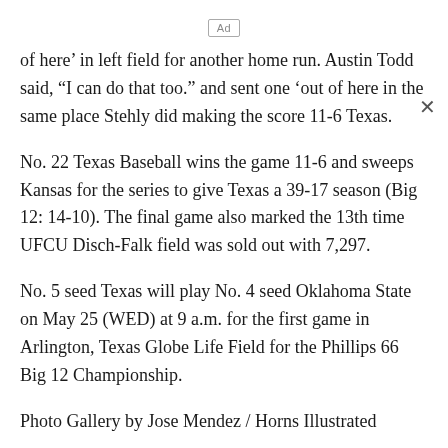[Figure (other): Ad placeholder box with text 'Ad']
of here' in left field for another home run. Austin Todd said, “I can do that too.” and sent one ‘out of here in the same place Stehly did making the score 11-6 Texas.
No. 22 Texas Baseball wins the game 11-6 and sweeps Kansas for the series to give Texas a 39-17 season (Big 12: 14-10). The final game also marked the 13th time UFCU Disch-Falk field was sold out with 7,297.
No. 5 seed Texas will play No. 4 seed Oklahoma State on May 25 (WED) at 9 a.m. for the first game in Arlington, Texas Globe Life Field for the Phillips 66 Big 12 Championship.
Photo Gallery by Jose Mendez / Horns Illustrated